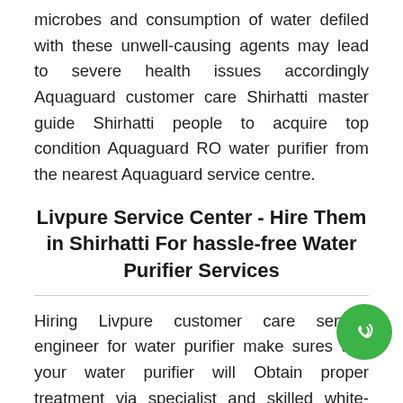microbes and consumption of water defiled with these unwell-causing agents may lead to severe health issues accordingly Aquaguard customer care Shirhatti master guide Shirhatti people to acquire top condition Aquaguard RO water purifier from the nearest Aquaguard service centre.
Livpure Service Center - Hire Them in Shirhatti For hassle-free Water Purifier Services
Hiring Livpure customer care service engineer for water purifier make sures that your water purifier will Obtain proper treatment via specialist and skilled white-collar service supplier. Are you living in Shirhatti and concerned about your drinking water purifier hiring Livpure service Shirhatti is perfect for y Livpure service center in Shirhatti is among the top and